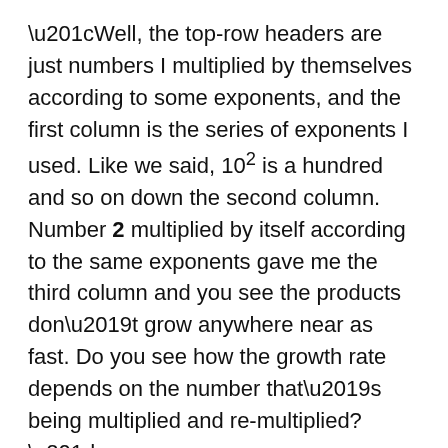“Well, the top-row headers are just numbers I multiplied by themselves according to some exponents, and the first column is the series of exponents I used. Like we said, 10² is a hundred and so on down the second column. Number 2 multiplied by itself according to the same exponents gave me the third column and you see the products don’t grow anywhere near as fast. Do you see how the growth rate depends on the number that’s being multiplied and re-multiplied?”
“No problem. What about the other columns?”
“Start with the fifth column. What’s 100% of 100%?”